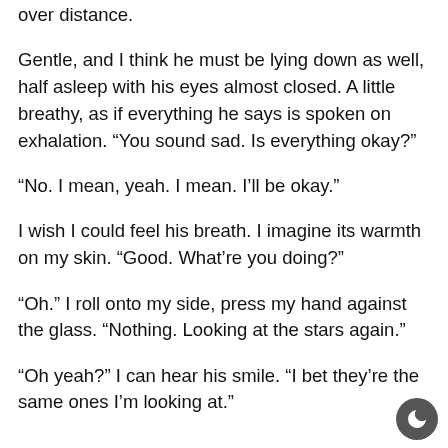over distance.
Gentle, and I think he must be lying down as well, half asleep with his eyes almost closed. A little breathy, as if everything he says is spoken on exhalation. “You sound sad. Is everything okay?”
“No. I mean, yeah. I mean. I’ll be okay.”
I wish I could feel his breath. I imagine its warmth on my skin. “Good. What’re you doing?”
“Oh.” I roll onto my side, press my hand against the glass. “Nothing. Looking at the stars again.”
“Oh yeah?” I can hear his smile. “I bet they’re the same ones I’m looking at.”